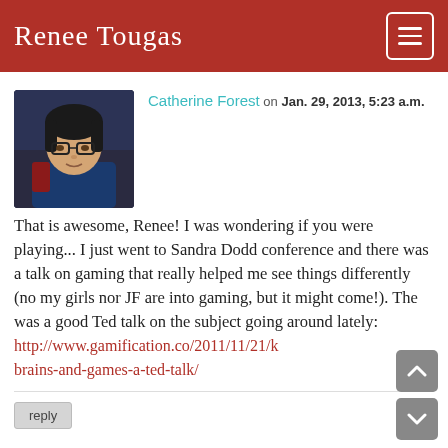Renee Tougas
[Figure (photo): Profile photo of Catherine Forest, a woman with glasses and dark hair wearing a blue garment, in a dark background.]
Catherine Forest on Jan. 29, 2013, 5:23 a.m.
That is awesome, Renee! I was wondering if you were playing... I just went to Sandra Dodd conference and there was a talk on gaming that really helped me see things differently (no my girls nor JF are into gaming, but it might come!). The was a good Ted talk on the subject going around lately: http://www.gamification.co/2011/11/21/k brains-and-games-a-ted-talk/
reply